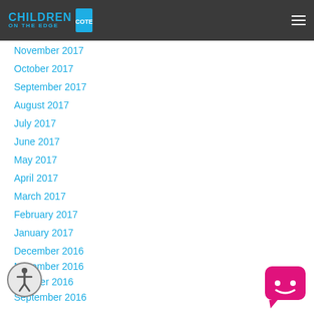Children on the Edge
November 2017
October 2017
September 2017
August 2017
July 2017
June 2017
May 2017
April 2017
March 2017
February 2017
January 2017
December 2016
November 2016
October 2016
September 2016
August 2016
July 2016
[Figure (illustration): Pink/magenta chat bubble icon with smiley face]